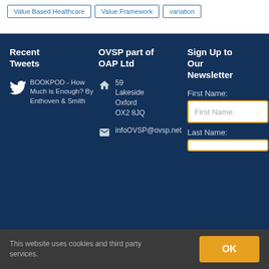Value Based Healthcare
Value Framework
variation
Recent Tweets
BOOKPOD - How Much is Enough? By Enthoven & Smith
OVSP part of OAP Ltd
59 Lakeside Oxford OX2 8JQ
infoOVSP@ovsp.net
Sign Up to Our Newsletter
First Name:
First Name
Last Name:
This website uses cookies and third party services.
OK